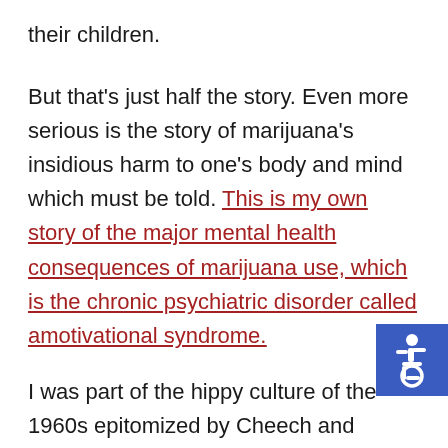their children.
But that's just half the story. Even more serious is the story of marijuana's insidious harm to one's body and mind which must be told. This is my own story of the major mental health consequences of marijuana use, which is the chronic psychiatric disorder called amotivational syndrome.
I was part of the hippy culture of the 1960s epitomized by Cheech and Chong movies which achieved notoriety portraying the life of potheads and their hedonistic culture of free love, drug abu… living for the moment, and drifting through life without a purpose. In one scene the pair are in a car
[Figure (illustration): Accessibility icon (wheelchair user symbol) in white on blue background, positioned in bottom-right corner of page]